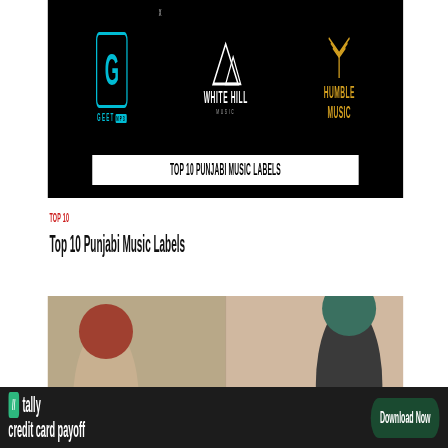[Figure (photo): Top 10 Punjabi Music Labels banner showing logos of Geet MP3, White Hill Music, and Humble Music on black background with white title bar]
TOP 10
Top 10 Punjabi Music Labels
[Figure (photo): Two Punjabi men wearing turbans, one in casual beige outfit and one in formal dark suit with tie, standing indoors]
[Figure (infographic): Tally app advertisement banner with tally icon, text 'tally' and 'credit card payoff' on dark background with green Download Now button]